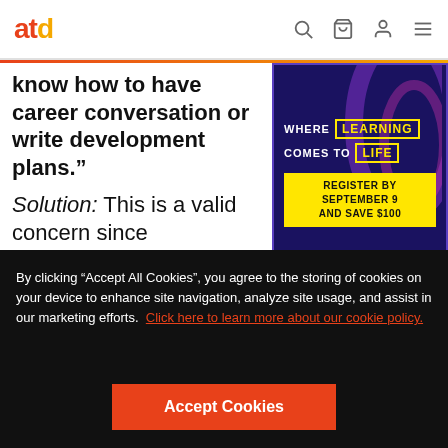atd
know how to have career conversation or write development plans.”
[Figure (infographic): ATD conference advertisement banner with dark purple background showing text: WHERE LEARNING COMES TO LIFE, REGISTER BY SEPTEMBER 9 AND SAVE $100]
Advertisement
Solution: This is a valid concern since nobody is born knowing how to have career
By clicking “Accept All Cookies”, you agree to the storing of cookies on your device to enhance site navigation, analyze site usage, and assist in our marketing efforts. Click here to learn more about our cookie policy.
Accept Cookies